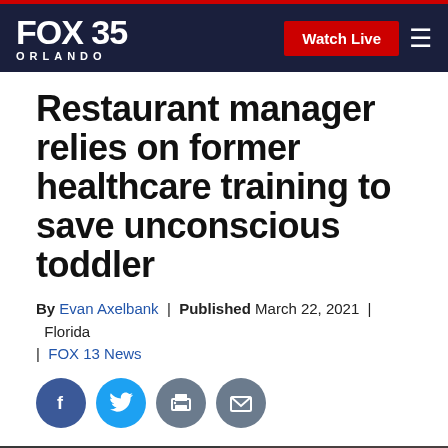FOX 35 ORLANDO | Watch Live
Restaurant manager relies on former healthcare training to save unconscious toddler
By Evan Axelbank | Published March 22, 2021 | Florida | FOX 13 News
[Figure (illustration): Social media sharing icons: Facebook, Twitter, Print, Email]
[Figure (photo): Video thumbnail with caption: WingStop manager jumps to action after boy goes unconscious]